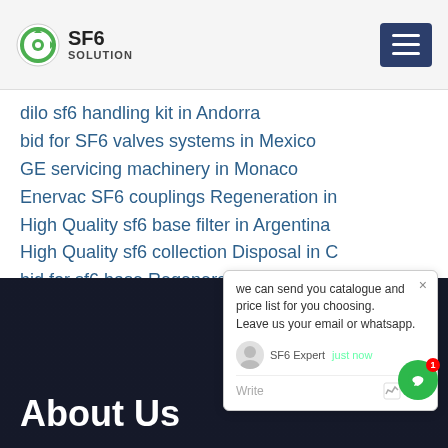SF6 SOLUTION
dilo sf6 handling kit in Andorra
bid for SF6 valves systems in Mexico
GE servicing machinery in Monaco
Enervac SF6 couplings Regeneration in
High Quality sf6 base filter in Argentina
High Quality sf6 collection Disposal in C
bid for sf6 base Regeneration in Egypt
GE sf6 gis tools in Slovenia
we can send you catalogue and price list for you choosing.
Leave us your email or whatsapp.
SF6 Expert   just now
Write
About Us